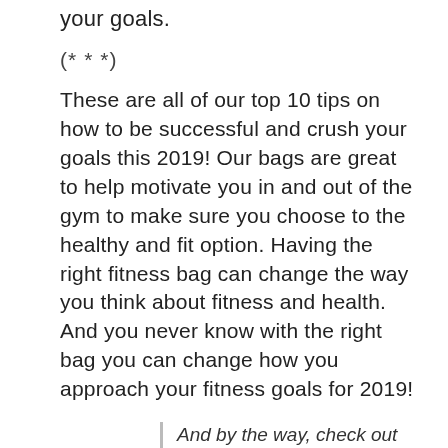your goals.
(* * *)
These are all of our top 10 tips on how to be successful and crush your goals this 2019! Our bags are great to help motivate you in and out of the gym to make sure you choose to the healthy and fit option. Having the right fitness bag can change the way you think about fitness and health. And you never know with the right bag you can change how you approach your fitness goals for 2019!
And by the way, check out LIVEWELL360.com to buy your LUXX bag. It's just $169. You also get 20% off all orders with the code 20OFF!